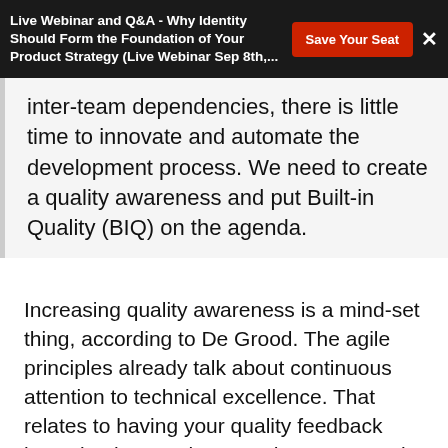Live Webinar and Q&A - Why Identity Should Form the Foundation of Your Product Strategy (Live Webinar Sep 8th,...
inter-team dependencies, there is little time to innovate and automate the development process. We need to create a quality awareness and put Built-in Quality (BIQ) on the agenda.
Increasing quality awareness is a mind-set thing, according to De Grood. The agile principles already talk about continuous attention to technical excellence. That relates to having your quality feedback loops in place and means that you spend time on training and helping the teams to automate their development process and embrace these development practises.
According to De Grood, there is more to it; although